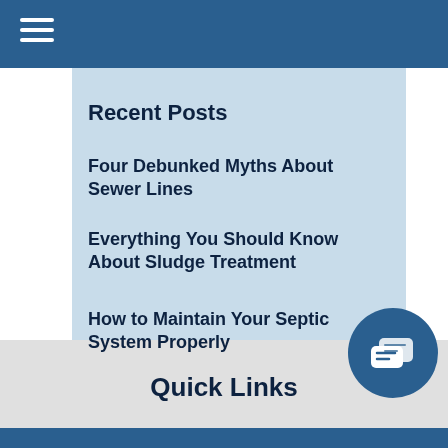Recent Posts
Four Debunked Myths About Sewer Lines
Everything You Should Know About Sludge Treatment
How to Maintain Your Septic System Properly
Quick Links